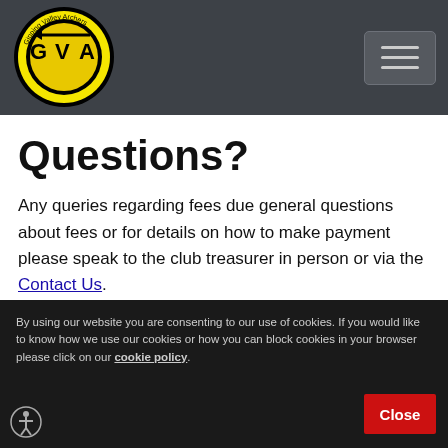Gipping Valley Archers — navigation header with logo and hamburger menu
[Figure (photo): Archery target face close-up showing blue and white rings with black outer ring]
Questions?
Any queries regarding fees due general questions about fees or for details on how to make payment please speak to the club treasurer in person or via the Contact Us.
By using our website you are consenting to our use of cookies. If you would like to know how we use our cookies or how you can block cookies in your browser please click on our cookie policy.